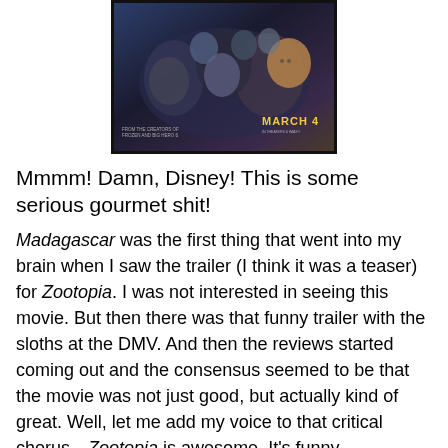[Figure (photo): Movie poster for Zootopia showing animated animal characters grouped together. Text reads 'MARCH 4' in yellow. Small text at bottom left references Frozen and Big Hero 6.]
Mmmm! Damn, Disney! This is some serious gourmet shit!
Madagascar was the first thing that went into my brain when I saw the trailer (I think it was a teaser) for Zootopia. I was not interested in seeing this movie. But then there was that funny trailer with the sloths at the DMV. And then the reviews started coming out and the consensus seemed to be that the movie was not just good, but actually kind of great. Well, let me add my voice to that critical chorus…Zootopia is awesome. It's funny, entertaining, beautifully animated (it has gorgeous cityscape compositions) and stuffed with important messages for kids and adults alike. Boy, was I pleasantly surprised by this movie!
Zootopia digs deep. This is ostensibly a children's movie that actually deals with issues like bullying, gender and racial